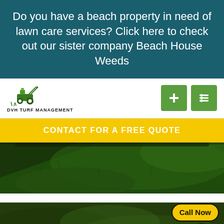Do you have a beach property in need of lawn care services? Click here to check out our sister company Beach House Weeds
[Figure (logo): DVH Turf Management logo with cartoon lawn mower character]
[Figure (other): Green navigation button with plus icon]
[Figure (other): Green navigation button with menu/list icon]
CONTACT FOR A FREE QUOTE
[Figure (photo): Close-up photo of dark green grass/lawn from above]
[Figure (photo): Close-up photo of grass and weeds at ground level]
[Figure (other): Call Now button with yellow background and phone icon circle]